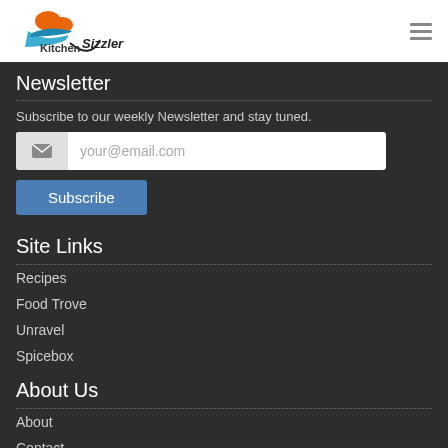[Figure (logo): Kitchen Sizzler logo with orange and blue chef/food icon and text 'Kitchen Sizzler live life food size']
Newsletter
Subscribe to our weekly Newsletter and stay tuned.
Site Links
Recipes
Food Trove
Unravel
Spicebox
About Us
About
Contact